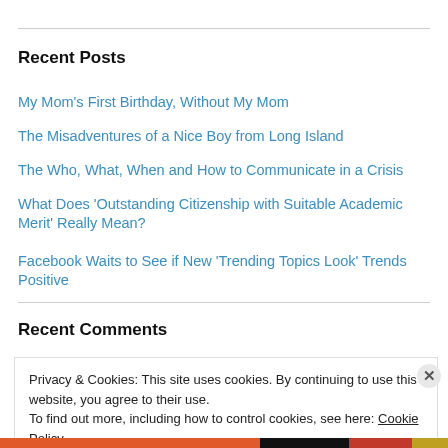Recent Posts
My Mom's First Birthday, Without My Mom
The Misadventures of a Nice Boy from Long Island
The Who, What, When and How to Communicate in a Crisis
What Does 'Outstanding Citizenship with Suitable Academic Merit' Really Mean?
Facebook Waits to See if New 'Trending Topics Look' Trends Positive
Recent Comments
Privacy & Cookies: This site uses cookies. By continuing to use this website, you agree to their use.
To find out more, including how to control cookies, see here: Cookie Policy
Close and accept